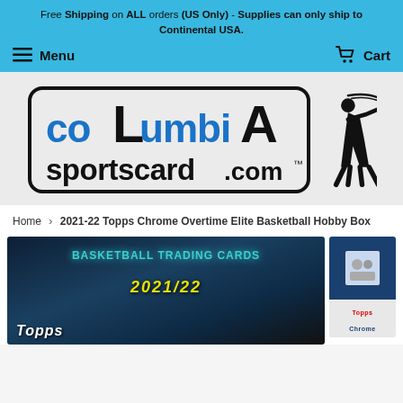Free Shipping on ALL orders (US Only) - Supplies can only ship to Continental USA.
Menu | Cart
[Figure (logo): Columbia Sportscard.com logo with baseball batter silhouette]
Home › 2021-22 Topps Chrome Overtime Elite Basketball Hobby Box
[Figure (photo): 2021-22 Topps Chrome Overtime Elite Basketball Hobby Box product images showing basketball trading cards box with 2021/22 branding and a smaller thumbnail image]